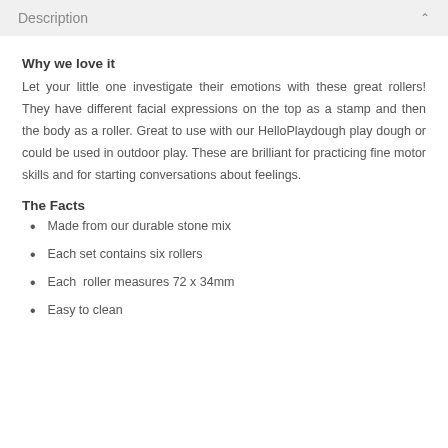Description
Why we love it
Let your little one investigate their emotions with these great rollers! They have different facial expressions on the top as a stamp and then the body as a roller. Great to use with our HelloPlaydough play dough or could be used in outdoor play. These are brilliant for practicing fine motor skills and for starting conversations about feelings.
The Facts
Made from our durable stone mix
Each set contains six rollers
Each  roller measures 72 x 34mm
Easy to clean